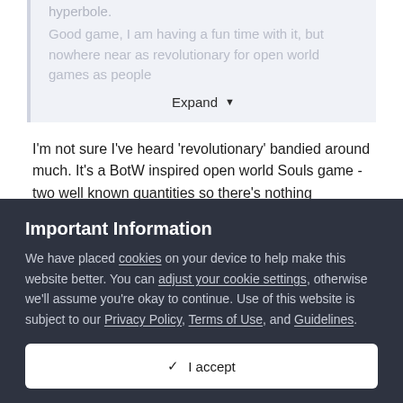hyperbole.
Good game, I am having a fun time with it, but nowhere near as revolutionary for open world games as people
Expand
I'm not sure I've heard 'revolutionary' bandied around much. It's a BotW inspired open world Souls game - two well known quantities so there's nothing massively surprising or radically new. What it is, though, is incredibly well put together and executed.
Important Information
We have placed cookies on your device to help make this website better. You can adjust your cookie settings, otherwise we'll assume you're okay to continue. Use of this website is subject to our Privacy Policy, Terms of Use, and Guidelines.
✓  I accept